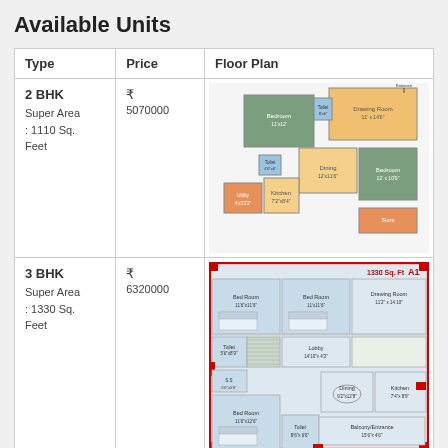Available Units
| Type | Price | Floor Plan |
| --- | --- | --- |
| 2 BHK
Super Area : 1110 Sq. Feet | ₹
5070000 | [Floor plan image: 2BHK] |
| 3 BHK
Super Area : 1330 Sq. Feet | ₹
6320000 | [Floor plan image: 3BHK] |